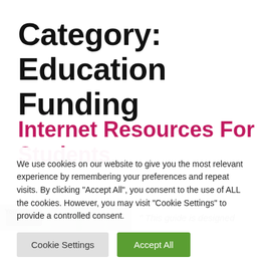Category: Education Funding
Internet Resources For Students
[Figure (screenshot): Partial article preview image showing keyboard keys and partial text '" This guide is designed']
We use cookies on our website to give you the most relevant experience by remembering your preferences and repeat visits. By clicking "Accept All", you consent to the use of ALL the cookies. However, you may visit "Cookie Settings" to provide a controlled consent.
Cookie Settings | Accept All